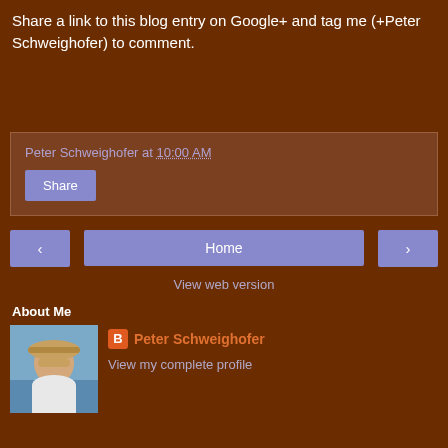Share a link to this blog entry on Google+ and tag me (+Peter Schweighofer) to comment.
Peter Schweighofer at 10:00 AM
Share
< Home >
View web version
About Me
[Figure (photo): Profile photo of Peter Schweighofer wearing a cowboy hat outdoors near water]
Peter Schweighofer
View my complete profile